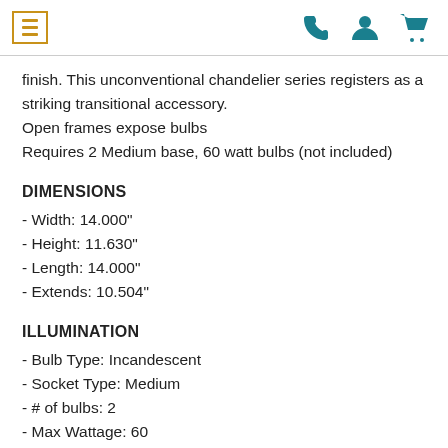Navigation header with menu icon and icons for phone, account, and cart
finish. This unconventional chandelier series registers as a striking transitional accessory.
Open frames expose bulbs
Requires 2 Medium base, 60 watt bulbs (not included)
DIMENSIONS
- Width: 14.000"
- Height: 11.630"
- Length: 14.000"
- Extends: 10.504"
ILLUMINATION
- Bulb Type: Incandescent
- Socket Type: Medium
- # of bulbs: 2
- Max Wattage: 60
- Bulb(s) Included?: No